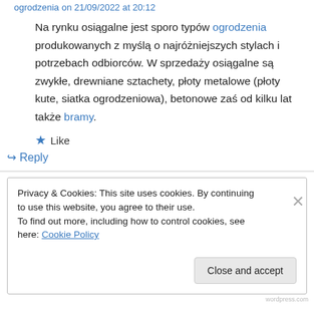ogrodzenia on 21/09/2022 at 20:12
Na rynku osiągalne jest sporo typów ogrodzenia produkowanych z myślą o najróżniejszych stylach i potrzebach odbiorców. W sprzedaży osiągalne są zwykłe, drewniane sztachety, płoty metalowe (płoty kute, siatka ogrodzeniowa), betonowe zaś od kilku lat także bramy.
★ Like
↪ Reply
Privacy & Cookies: This site uses cookies. By continuing to use this website, you agree to their use.
To find out more, including how to control cookies, see here: Cookie Policy
Close and accept